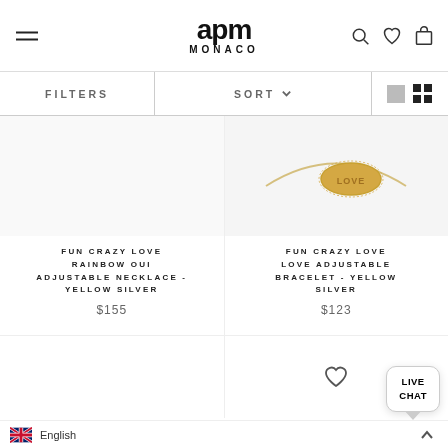APM MONACO
FILTERS
SORT
[Figure (photo): APM Monaco jewelry product image area - top portion of two products visible]
FUN CRAZY LOVE RAINBOW OUI ADJUSTABLE NECKLACE - YELLOW SILVER
$155
[Figure (photo): APM Monaco Fun Crazy Love Love Adjustable Bracelet - Yellow Silver product image showing gold oval pendant with LOVE text on mesh chain]
FUN CRAZY LOVE LOVE ADJUSTABLE BRACELET - YELLOW SILVER
$123
[Figure (photo): Bottom product row - partially visible, heart/wishlist icon shown]
LIVE CHAT
English